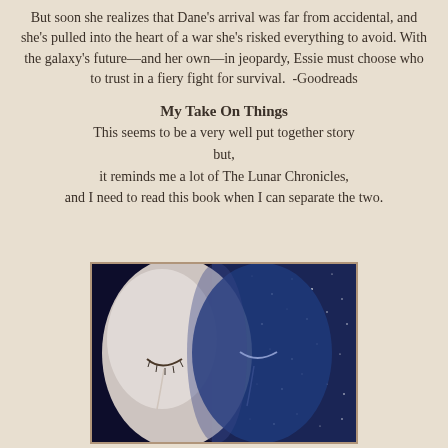But soon she realizes that Dane's arrival was far from accidental, and she's pulled into the heart of a war she's risked everything to avoid. With the galaxy's future—and her own—in jeopardy, Essie must choose who to trust in a fiery fight for survival.  -Goodreads
My Take On Things
This seems to be a very well put together story but,
it reminds me a lot of The Lunar Chronicles,
and I need to read this book when I can separate the two.
[Figure (illustration): Book cover image showing two faces side by side — one pale/white on the left, one dark blue with stars/galaxy pattern on the right, both with eyes closed]